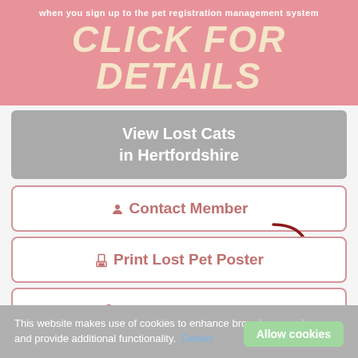when you sign up to the pet registration management system
CLICK FOR DETAILS
View Lost Cats in Hertfordshire
Contact Member
Print Lost Pet Poster
View Location Map
This website makes use of cookies to enhance browsing experience and provide additional functionality. Details